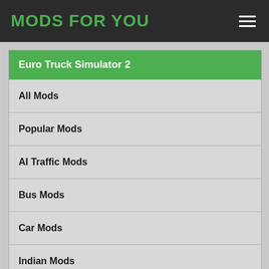MODS FOR YOU
Euro Truck Simulator 2
All Mods
Popular Mods
AI Traffic Mods
Bus Mods
Car Mods
Indian Mods
Interior Mods
Map Mods